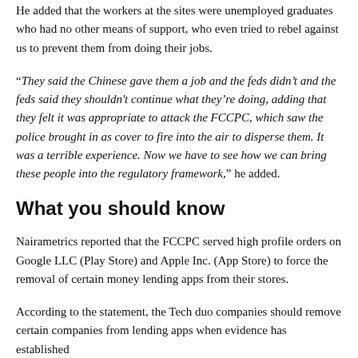He added that the workers at the sites were unemployed graduates who had no other means of support, who even tried to rebel against us to prevent them from doing their jobs.
“They said the Chinese gave them a job and the feds didn’t and the feds said they shouldn't continue what they’re doing, adding that they felt it was appropriate to attack the FCCPC, which saw the police brought in as cover to fire into the air to disperse them. It was a terrible experience. Now we have to see how we can bring these people into the regulatory framework,” he added.
What you should know
Nairametrics reported that the FCCPC served high profile orders on Google LLC (Play Store) and Apple Inc. (App Store) to force the removal of certain money lending apps from their stores.
According to the statement, the Tech duo companies should remove certain companies from lending apps when evidence has established